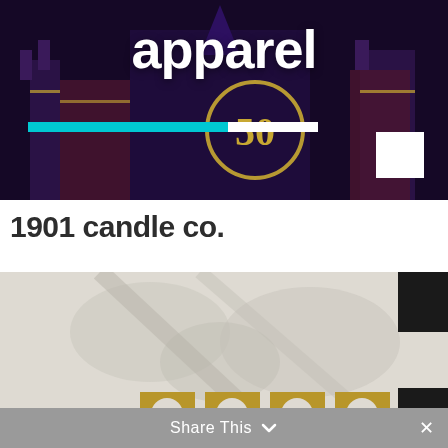[Figure (screenshot): Dark themed image of a Disney castle at night with '50' anniversary circle, overlaid with large white bold text 'apparel', teal and white horizontal bars near bottom, white square in bottom right corner]
1901 candle co.
[Figure (screenshot): Light gray/beige background image showing hands and candles, with a gold '1901' logo text at bottom center, dark rectangle UI element top right, dark scroll-to-top button bottom right]
Share This ∨  ×